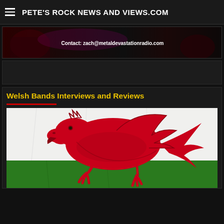PETE'S ROCK NEWS AND VIEWS.COM
[Figure (illustration): Dark metal-themed banner with gothic imagery and contact email: zach@metaldevastationradio.com]
[Figure (other): Advertisement block (empty/dark)]
Welsh Bands Interviews and Reviews
[Figure (illustration): Welsh flag featuring a red dragon on white and green background]